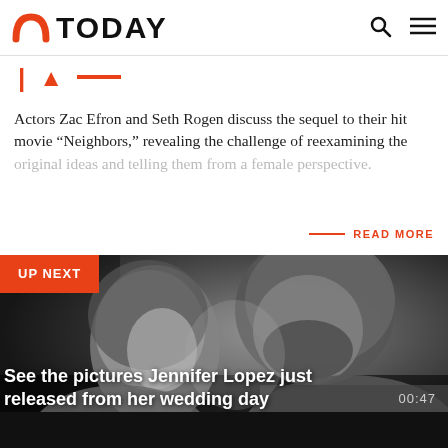TODAY
Actors Zac Efron and Seth Rogen discuss the sequel to their hit movie “Neighbors,” revealing the challenge of reexamining the original ideas and telling them from a female perspective.
READ MORE
UP NEXT
[Figure (photo): Black and white close-up photo of a man and woman facing each other intimately, the man with a beard looking down at the woman.]
See the pictures Jennifer Lopez just released from her wedding day
00:47